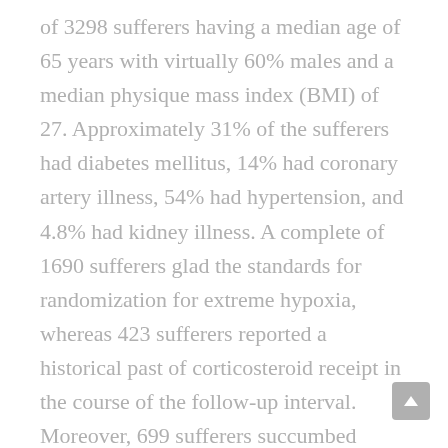of 3298 sufferers having a median age of 65 years with virtually 60% males and a median physique mass index (BMI) of 27. Approximately 31% of the sufferers had diabetes mellitus, 14% had coronary artery illness, 54% had hypertension, and 4.8% had kidney illness. A complete of 1690 sufferers glad the standards for randomization for extreme hypoxia, whereas 423 sufferers reported a historical past of corticosteroid receipt in the course of the follow-up interval. Moreover, 699 sufferers succumbed inside 28 days of randomization.